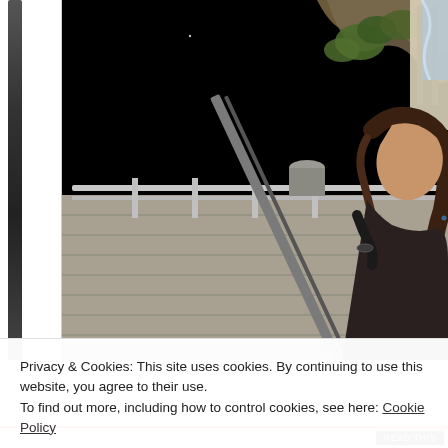[Figure (screenshot): Screenshot of a video game showing a female character in the foreground with brown hair and dark outfit, holding a weapon, standing on a platform/deck area with metal railings. Background shows a dark sky and rocky terrain with green foliage and a tower-like structure on the right.]
Privacy & Cookies: This site uses cookies. By continuing to use this website, you agree to their use.
To find out more, including how to control cookies, see here: Cookie Policy
Close and accept